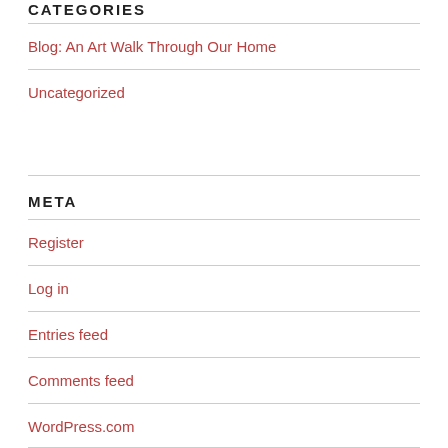CATEGORIES
Blog: An Art Walk Through Our Home
Uncategorized
META
Register
Log in
Entries feed
Comments feed
WordPress.com